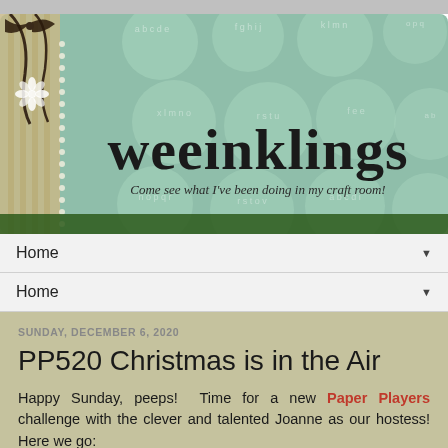[Figure (illustration): Blog header banner for 'weeinklings' craft blog. Mint/teal polka dot background with alphabet letters in circles, a decorative ribbon/bow element on the left, and bold decorative text 'weeinklings' with subtitle 'Come see what I've been doing in my craft room!']
Home
Home
SUNDAY, DECEMBER 6, 2020
PP520 Christmas is in the Air
Happy Sunday, peeps!  Time for a new Paper Players challenge with the clever and talented Joanne as our hostess! Here we go: